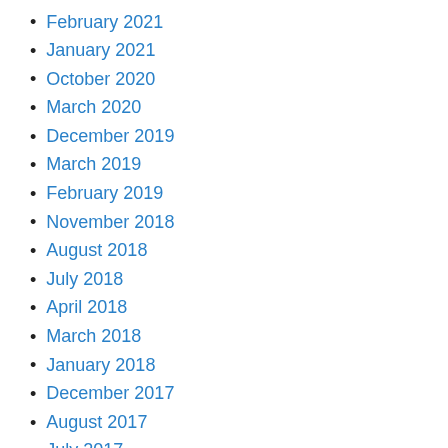February 2021
January 2021
October 2020
March 2020
December 2019
March 2019
February 2019
November 2018
August 2018
July 2018
April 2018
March 2018
January 2018
December 2017
August 2017
July 2017